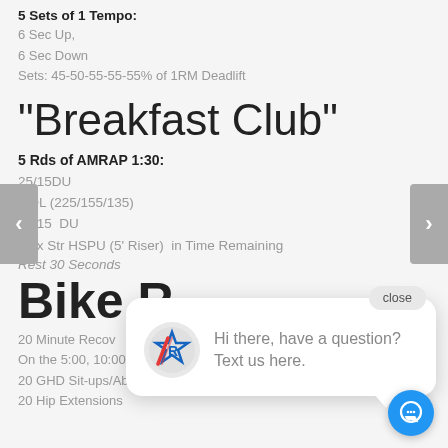5 Sets of 1 Tempo:
6 Sec Up,
6 Sec Down
Sets: 45-50-55-55-55% of 1RM Deadlift
“Breakfast Club”
5 Rds of AMRAP 1:30:
25/15DU
9 DL (225/155/135)
25/15  DU
Max Str HSPU (5’ Riser)  in Time Remaining
Rest 30 Seconds
Bike R
20 Minute Recov
On the 5:00, 10:00, and 15:00:
20 GHD Sit-ups/Abmat
20 Hip Extensions
[Figure (screenshot): Chat popup widget with close button, logo icon, and message 'Hi there, have a question? Text us here.' with blue chat button]